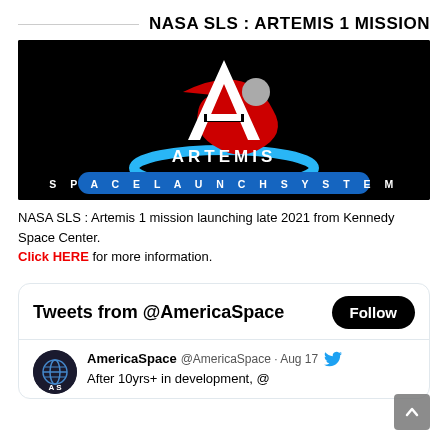NASA SLS : ARTEMIS 1 MISSION
[Figure (logo): Artemis Space Launch System logo on black background — white letter A with a gray circle, red swoosh, blue arc, ARTEMIS text in white, SPACE LAUNCH SYSTEM in white on blue rounded rectangle]
NASA SLS : Artemis 1 mission launching late 2021 from Kennedy Space Center. Click HERE for more information.
Tweets from @AmericaSpace
AmericaSpace @AmericaSpace · Aug 17
After 10yrs+ in development, @